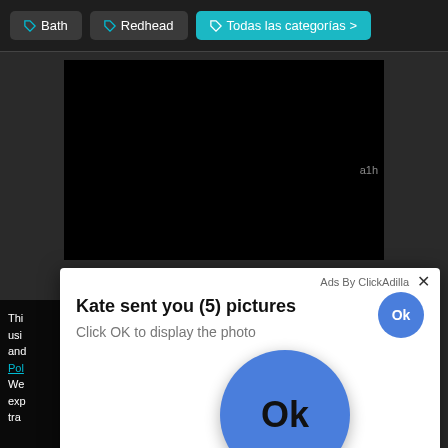[Figure (screenshot): Screenshot of a dark-themed website with tag buttons 'Bath', 'Redhead', and 'Todas las categorías >' at the top, a black video player area, and a popup advertisement dialog reading 'Kate sent you (5) pictures' with 'Click OK to display the photo', two blue 'Ok' buttons (one small, one large circular), and partial text on the left side. Bottom right shows 'a1h' label. A teal button labeled 'G' is partially visible on the right edge.]